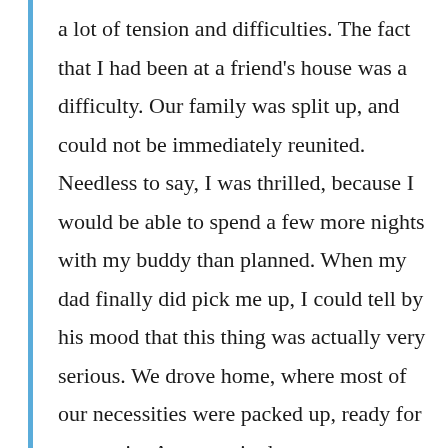a lot of tension and difficulties. The fact that I had been at a friend's house was a difficulty. Our family was split up, and could not be immediately reunited. Needless to say, I was thrilled, because I would be able to spend a few more nights with my buddy than planned. When my dad finally did pick me up, I could tell by his mood that this thing was actually very serious. We drove home, where most of our necessities were packed up, ready for evacuationAs we waited